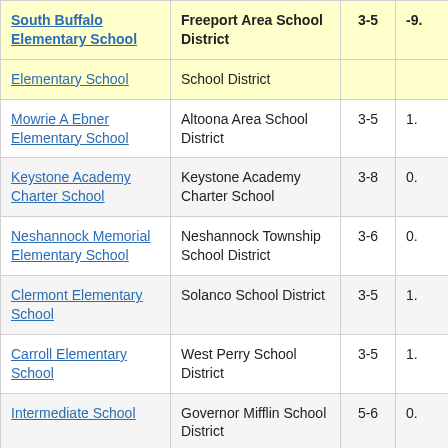| School | District | Grades | Value |
| --- | --- | --- | --- |
| South Buffalo Elementary School | Freeport Area School District | 3-5 | -9. |
| [Elementary School] | School District |  |  |
| Mowrie A Ebner Elementary School | Altoona Area School District | 3-5 | 1. |
| Keystone Academy Charter School | Keystone Academy Charter School | 3-8 | 0. |
| Neshannock Memorial Elementary School | Neshannock Township School District | 3-6 | 0. |
| Clermont Elementary School | Solanco School District | 3-5 | 1. |
| Carroll Elementary School | West Perry School District | 3-5 | 1. |
| Intermediate School | Governor Mifflin School District | 5-6 | 0. |
| Hillcrest Elemen... | Council Ro... |  |  |